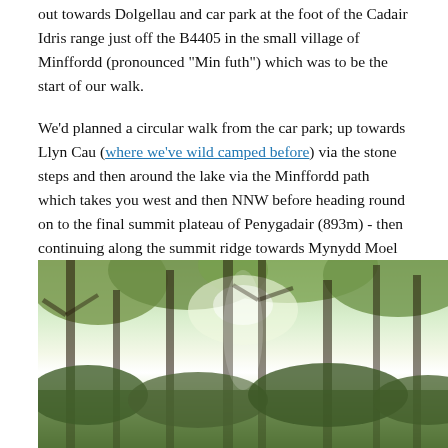out towards Dolgellau and car park at the foot of the Cadair Idris range just off the B4405 in the small village of Minffordd (pronounced "Min futh") which was to be the start of our walk.
We'd planned a circular walk from the car park; up towards Llyn Cau (where we've wild camped before) via the stone steps and then around the lake via the Minffordd path which takes you west and then NNW before heading round on to the final summit plateau of Penygadair (893m) - then continuing along the summit ridge towards Mynydd Moel (863m) and then down the southern slopes of the range towards Moelfryn and back down through the woods to arrive back in the car park around 6 miles later.
[Figure (photo): A photograph of a forest/woodland scene with tall trees, green foliage canopy, and light filtering through the trees from above.]